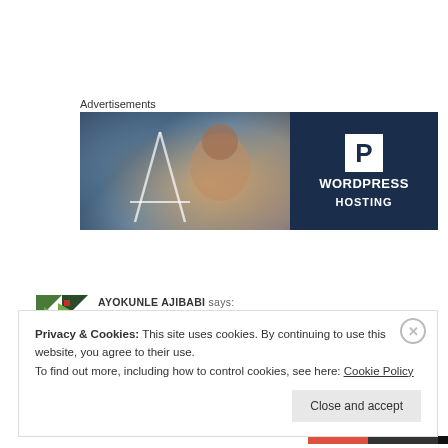Advertisements
[Figure (photo): WordPress Hosting advertisement banner with a smiling person on the left side and dark navy background on the right showing a 'P' badge and text 'WORDPRESS HOSTING']
[Figure (photo): Avatar icon for commenter AYOKUNLE AJIBABI with green/dark triangle pattern]
AYOKUNLE AJIBABI says:
March 5, 2014 at 2:44 pm
...r my head too.you killed it bro!
Privacy & Cookies: This site uses cookies. By continuing to use this website, you agree to their use. To find out more, including how to control cookies, see here: Cookie Policy
Close and accept